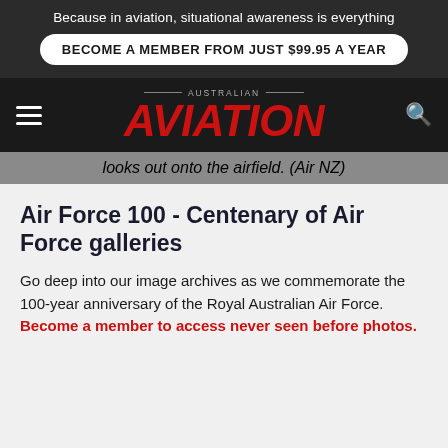Because in aviation, situational awareness is everything
BECOME A MEMBER FROM JUST $99.95 A YEAR
AUSTRALIAN AVIATION
looks out onto the airfield. (Air NZ)
Air Force 100 - Centenary of Air Force galleries
Go deep into our image archives as we commemorate the 100-year anniversary of the Royal Australian Air Force. Become a member to access never seen before photos.